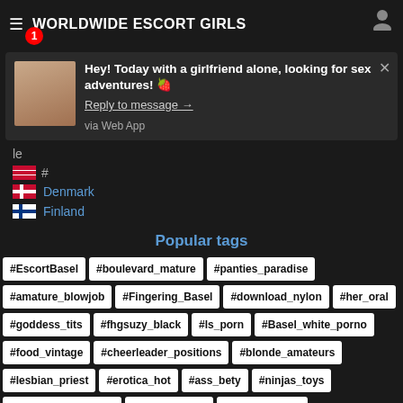WORLDWIDE ESCORT GIRLS
Hey! Today with a girlfriend alone, looking for sex adventures! 🍓
Reply to message →
via Web App
Denmark
Finland
Popular tags
#EscortBasel
#boulevard_mature
#panties_paradise
#amature_blowjob
#Fingering_Basel
#download_nylon
#her_oral
#goddess_tits
#fhgsuzy_black
#ls_porn
#Basel_white_porno
#food_vintage
#cheerleader_positions
#blonde_amateurs
#lesbian_priest
#erotica_hot
#ass_bety
#ninjas_toys
#apollo_nude_Basel
#tranny_mpeg
#adult_softball
#tentacle_erotica
#femdom_judicial
#big_cocksucking